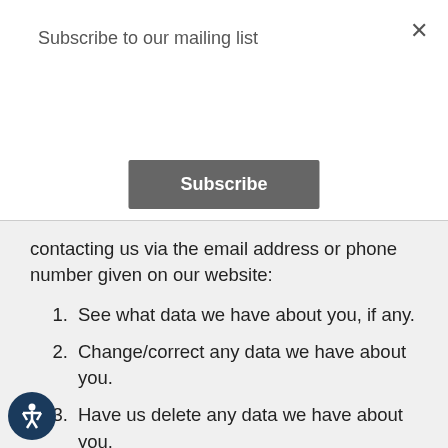Subscribe to our mailing list
Subscribe
contacting us via the email address or phone number given on our website:
1. See what data we have about you, if any.
2. Change/correct any data we have about you.
3. Have us delete any data we have about you.
4. Express any concern you have about our use of your data.
Security
We will take reasonable technical and organizational solutions to prevent the loss, misuse or alteration of your personal information.